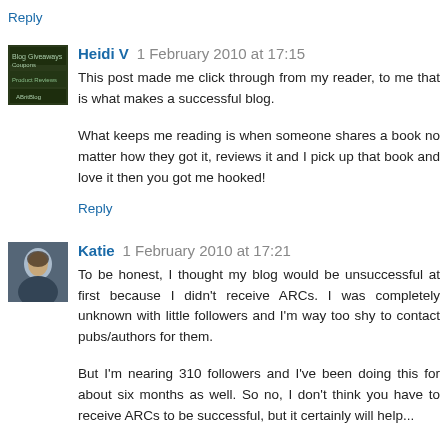Reply
Heidi V  1 February 2010 at 17:15
This post made me click through from my reader, to me that is what makes a successful blog.
What keeps me reading is when someone shares a book no matter how they got it, reviews it and I pick up that book and love it then you got me hooked!
Reply
Katie  1 February 2010 at 17:21
To be honest, I thought my blog would be unsuccessful at first because I didn't receive ARCs. I was completely unknown with little followers and I'm way too shy to contact pubs/authors for them.
But I'm nearing 310 followers and I've been doing this for about six months as well. So no, I don't think you have to receive ARCs to be successful, but it certainly will help...